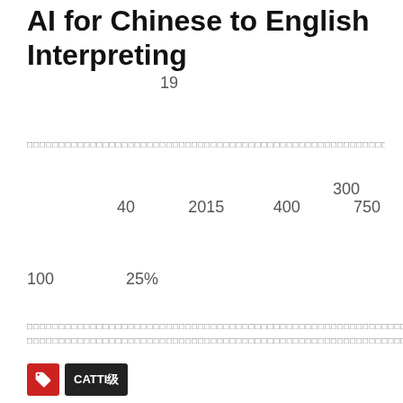AI for Chinese to English Interpreting
19
□□□□□□□□□□□□□□□□□□□□□□□□□□□□□□□□□□□□□□□□□□□□□□□□□□□□□□□□□□□□□□□□□□□□□□
300
40   2015   400   750
100   25%
□□□□□□□□□□□□□□□□□□□□□□□□□□□□□□□□□□□□□□□□□□□□□□□□□□□□□□□□□□□□□□□□□□□□□□□□□□□□□□□□□□□□□□□□□□□□□□□□□□□□□□□□□□□□□□□□□□□□□□□□□□□□□□□□□□□□□□□□□□□□□□□□□□□□□□□□
[Figure (logo): Red tag icon and CATTI label badge]